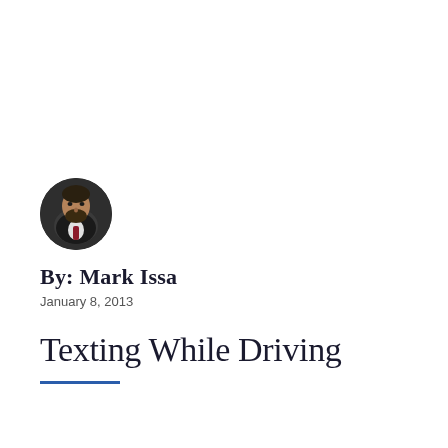[Figure (photo): Circular portrait photo of Mark Issa, a man in a dark suit with a beard, looking to the side]
By: Mark Issa
January 8, 2013
Texting While Driving
—decorative blue horizontal rule—